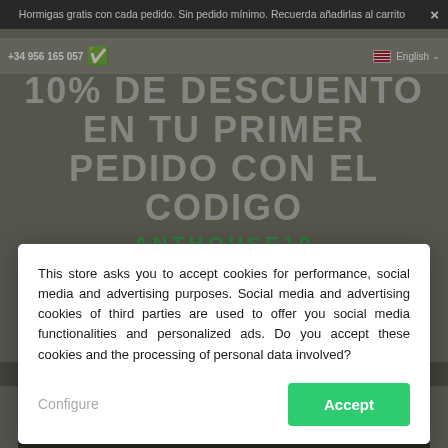Hormigas gratis con cada pedido. Sin pedido mínimo. Recuerda añadirlas al carrito
+34 956 165 057
English
10% DE DESCUENTO EN TU PRIMER PEDIDO CON EL CODIGO
ANTHOUSE10
0 : 0 1 0 : 0 1 0 : 0
This store asks you to accept cookies for performance, social media and advertising purposes. Social media and advertising cookies of third parties are used to offer you social media functionalities and personalized ads. Do you accept these cookies and the processing of personal data involved?
Configure
Accept